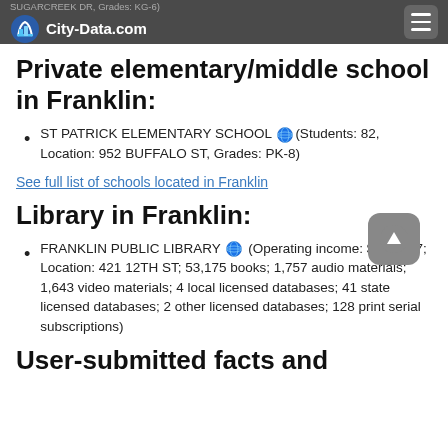City-Data.com | SUGARCREEK DR, Grades: KG-6)
Private elementary/middle school in Franklin:
ST PATRICK ELEMENTARY SCHOOL (Students: 82, Location: 952 BUFFALO ST, Grades: PK-8)
See full list of schools located in Franklin
Library in Franklin:
FRANKLIN PUBLIC LIBRARY (Operating income: $237,407; Location: 421 12TH ST; 53,175 books; 1,757 audio materials; 1,643 video materials; 4 local licensed databases; 41 state licensed databases; 2 other licensed databases; 128 print serial subscriptions)
User-submitted facts and